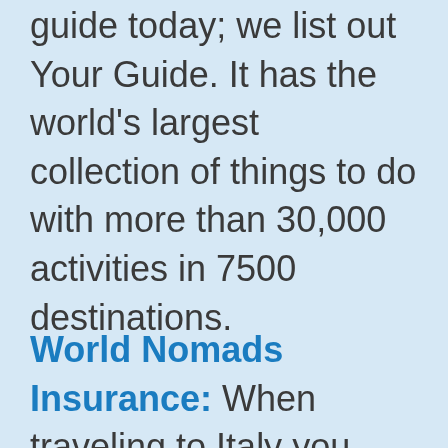guide today; we list out Your Guide. It has the world's largest collection of things to do with more than 30,000 activities in 7500 destinations.
World Nomads Insurance: When traveling to Italy you should always have travel insurance. World Nomads...